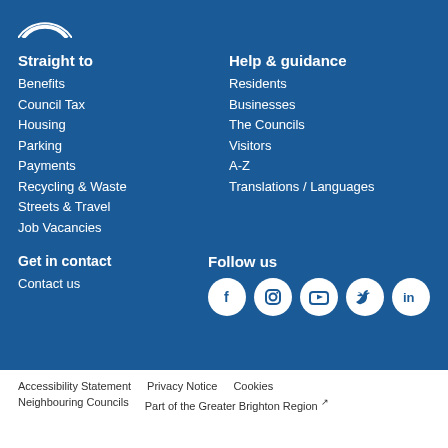[Figure (logo): Partial white circle logo at top left]
Straight to
Benefits
Council Tax
Housing
Parking
Payments
Recycling & Waste
Streets & Travel
Job Vacancies
Help & guidance
Residents
Businesses
The Councils
Visitors
A-Z
Translations / Languages
Get in contact
Contact us
Follow us
[Figure (infographic): Social media icons: Facebook, Instagram, YouTube, Twitter, LinkedIn]
Accessibility Statement  Privacy Notice  Cookies  Neighbouring Councils  Part of the Greater Brighton Region
Part of the Greater Brighton Region